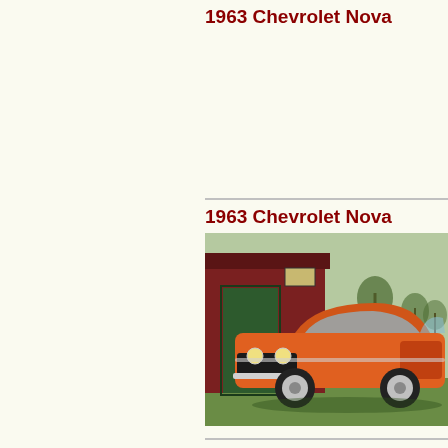1963 Chevrolet Nova
1963 Chevrolet Nova
[Figure (photo): Orange 1963 Chevrolet Nova parked on grass in front of a red barn with a green door. The car is a custom/modified coupe with chrome wheels.]
1963 Chevrolet Nova
[Figure (photo): Partial view of a 1963 Chevrolet Nova, appears red/maroon, parked in front of a commercial building.]